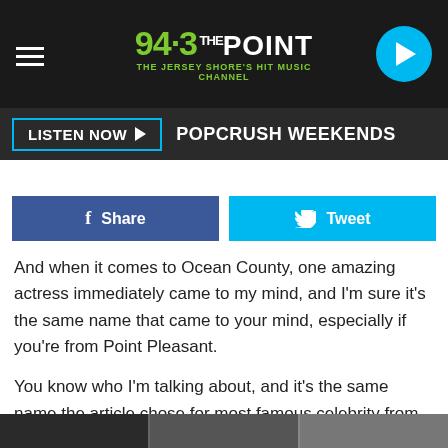94.3 THE POINT - THE JERSEY SHORE'S HIT MUSIC CHANNEL
LISTEN NOW ▶  POPCRUSH WEEKENDS
Share  Tweet
And when it comes to Ocean County, one amazing actress immediately came to my mind, and I'm sure it's the same name that came to your mind, especially if you're from Point Pleasant.
You know who I'm talking about, and it's the same name the article chose for most famous celebrity from Ocean County, and the honor belongs to Kirsten Dunst, and deservedly so. She is a Golden Globe and Primetime Emmy nominee, and she is a great actress.
[Figure (photo): Bottom strip showing partial photos at the bottom of the page]